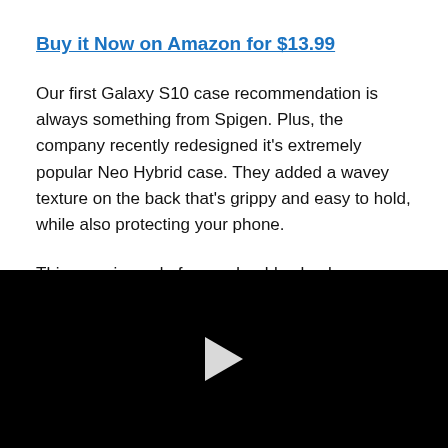Buy it Now on Amazon for $13.99
Our first Galaxy S10 case recommendation is always something from Spigen. Plus, the company recently redesigned it's extremely popular Neo Hybrid case. They added a wavey texture on the back that's grippy and easy to hold, while also protecting your phone.
This case is made from a durable shock-absorbing TPU case material then wrapped in a plastic bumper. Spigen reinforced the frame at each cutout for the buttons or
[Figure (screenshot): Black video player area with a white play button triangle in the center]